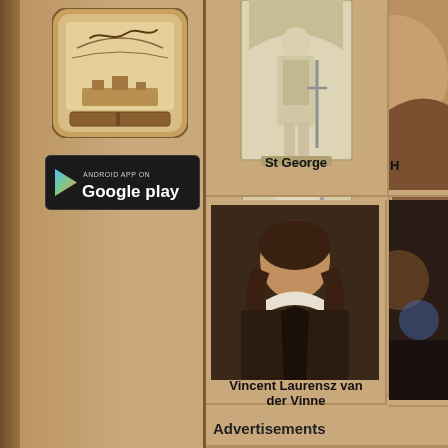[Figure (screenshot): Left sidebar with app icon (decorative scroll/book illustration with architectural background) and Google Play download button on tan/brown background]
[Figure (photo): Statue of St George, a white marble or stone figure holding a sword, displayed in a niche]
St George
[Figure (photo): Partially visible portrait on right side, top row]
H
[Figure (photo): Portrait painting of Vincent Laurensz van der Vinne, a man in 17th century dress with white collar]
Vincent Laurensz van der Vinne
[Figure (photo): Partially visible image on right side, bottom row, appears dark with some colorful elements]
V
Advertisements